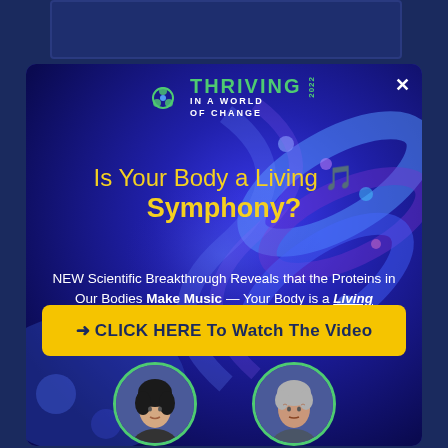[Figure (illustration): Advertisement popup with dark blue background DNA strand imagery. Features 'Thriving in a World of Change 2022' logo, headline 'Is Your Body a Living Symphony?', body text about proteins making music, a yellow CTA button, and two people at the bottom.]
Is Your Body a Living 🎵 Symphony?
NEW Scientific Breakthrough Reveals that the Proteins in Our Bodies Make Music — Your Body is a Living Orchestra Unto Itself!
→ CLICK HERE To Watch The Video